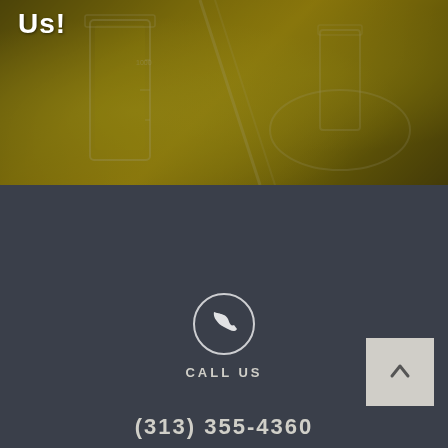[Figure (photo): Laboratory glassware with golden/yellow liquid, partially visible with dark overlay. Text 'Us!' visible in top-left corner.]
Us!
[Figure (infographic): Phone icon inside a circle on dark background with 'CALL US' label and phone number (313) 355-4360]
CALL US
(313) 355-4360